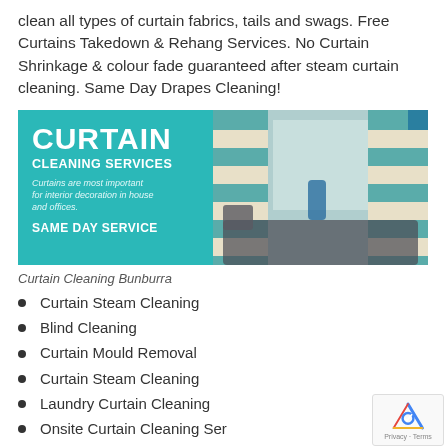clean all types of curtain fabrics, tails and swags. Free Curtains Takedown & Rehang Services. No Curtain Shrinkage & colour fade guaranteed after steam curtain cleaning. Same Day Drapes Cleaning!
[Figure (illustration): Curtain Cleaning Services promotional banner with teal background showing large CURTAIN CLEANING SERVICES text, tagline about interior decoration, SAME DAY SERVICE text, and photo of striped teal and white curtains with a sofa.]
Curtain Cleaning Bunburra
Curtain Steam Cleaning
Blind Cleaning
Curtain Mould Removal
Curtain Steam Cleaning
Laundry Curtain Cleaning
Onsite Curtain Cleaning Service